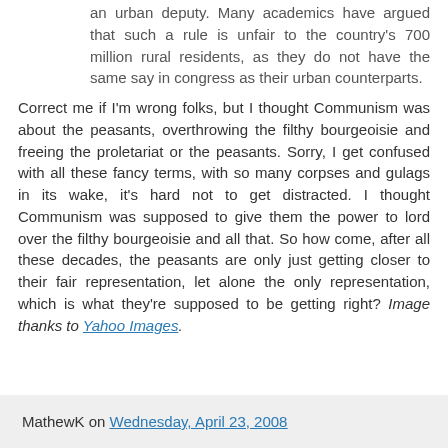an urban deputy. Many academics have argued that such a rule is unfair to the country's 700 million rural residents, as they do not have the same say in congress as their urban counterparts.
Correct me if I'm wrong folks, but I thought Communism was about the peasants, overthrowing the filthy bourgeoisie and freeing the proletariat or the peasants. Sorry, I get confused with all these fancy terms, with so many corpses and gulags in its wake, it's hard not to get distracted. I thought Communism was supposed to give them the power to lord over the filthy bourgeoisie and all that. So how come, after all these decades, the peasants are only just getting closer to their fair representation, let alone the only representation, which is what they're supposed to be getting right? Image thanks to Yahoo Images.
MathewK on Wednesday, April 23, 2008